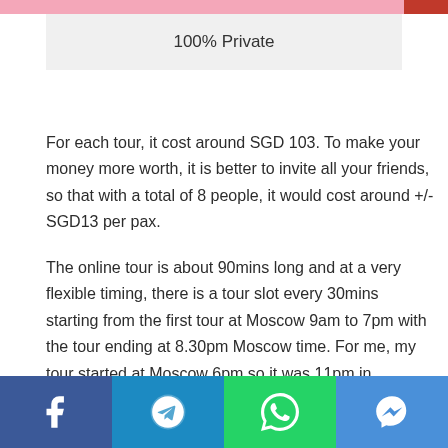100% Private
For each tour, it cost around SGD 103. To make your money more worth, it is better to invite all your friends, so that with a total of 8 people, it would cost around +/- SGD13 per pax.
The online tour is about 90mins long and at a very flexible timing, there is a tour slot every 30mins starting from the first tour at Moscow 9am to 7pm with the tour ending at 8.30pm Moscow time. For me, my tour started at Moscow 6pm so it was 11pm in Singapore.
Although it was supposed to be 90mins long, my tour ended up almost 110mins long. This is a good sign, makes our money more worth.
Facebook | Telegram | WhatsApp | Messenger